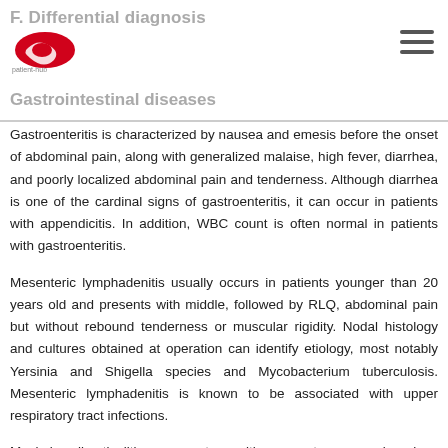F. Differential diagnosis
Gastrointestinal diseases
Gastroenteritis is characterized by nausea and emesis before the onset of abdominal pain, along with generalized malaise, high fever, diarrhea, and poorly localized abdominal pain and tenderness. Although diarrhea is one of the cardinal signs of gastroenteritis, it can occur in patients with appendicitis. In addition, WBC count is often normal in patients with gastroenteritis.
Mesenteric lymphadenitis usually occurs in patients younger than 20 years old and presents with middle, followed by RLQ, abdominal pain but without rebound tenderness or muscular rigidity. Nodal histology and cultures obtained at operation can identify etiology, most notably Yersinia and Shigella species and Mycobacterium tuberculosis. Mesenteric lymphadenitis is known to be associated with upper respiratory tract infections.
Meckel diverticulitis presents with symptoms and signs indistinguishable from those of appendicitis, but it